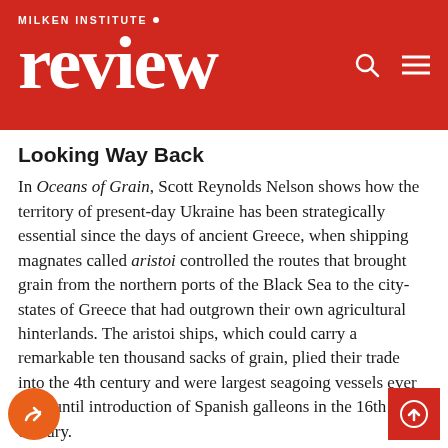MILKEN INSTITUTE review
Looking Way Back
In Oceans of Grain, Scott Reynolds Nelson shows how the territory of present-day Ukraine has been strategically essential since the days of ancient Greece, when shipping magnates called aristoi controlled the routes that brought grain from the northern ports of the Black Sea to the city-states of Greece that had outgrown their own agricultural hinterlands. The aristoi ships, which could carry a remarkable ten thousand sacks of grain, plied their trade into the 4th century and were largest seagoing vessels ever built until introduction of Spanish galleons in the 16th century.
The Black Sea grain trade remained a lifeline for European nutrition for a very long time. And Byzantium (the city also called Constantinople in